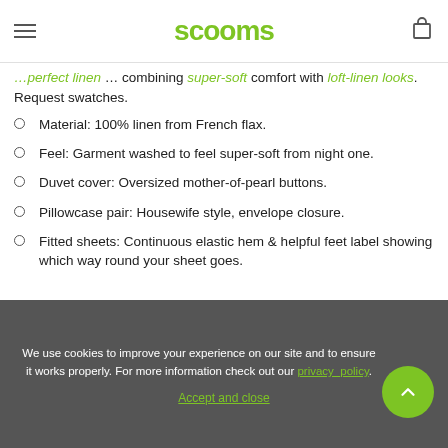scooms
...perfect linen ... combining super-soft comfort with loft-linen looks. Request swatches.
Material: 100% linen from French flax.
Feel: Garment washed to feel super-soft from night one.
Duvet cover: Oversized mother-of-pearl buttons.
Pillowcase pair: Housewife style, envelope closure.
Fitted sheets: Continuous elastic hem & helpful feet label showing which way round your sheet goes.
We use cookies to improve your experience on our site and to ensure it works properly. For more information check out our privacy_policy. Accept and close